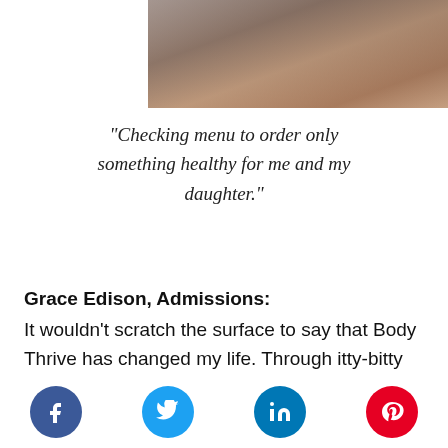[Figure (photo): Partial photo showing hands holding a menu/book at a table, cropped at top portion of page]
“Checking menu to order only something healthy for me and my daughter.”
Grace Edison, Admissions:
It wouldn’t scratch the surface to say that Body Thrive has changed my life. Through itty-bitty micro-habit change, I have been able to achieve
[Figure (other): Social media share buttons: Facebook (blue circle), Twitter (cyan circle), LinkedIn (blue circle), Pinterest (red circle)]